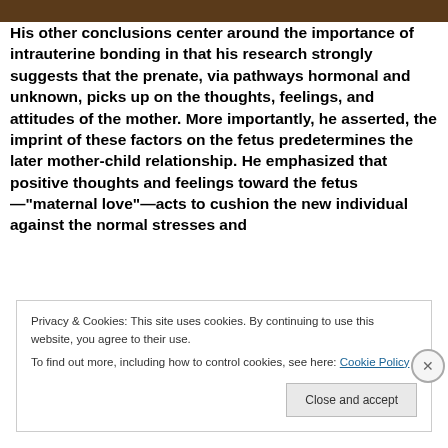[Figure (photo): Dark brown/amber colored image bar at top of page]
His other conclusions center around the importance of intrauterine bonding in that his research strongly suggests that the prenate, via pathways hormonal and unknown, picks up on the thoughts, feelings, and attitudes of the mother. More importantly, he asserted, the imprint of these factors on the fetus predetermines the later mother-child relationship. He emphasized that positive thoughts and feelings toward the fetus—“maternal love”—acts to cushion the new individual against the normal stresses and
Privacy & Cookies: This site uses cookies. By continuing to use this website, you agree to their use.
To find out more, including how to control cookies, see here: Cookie Policy